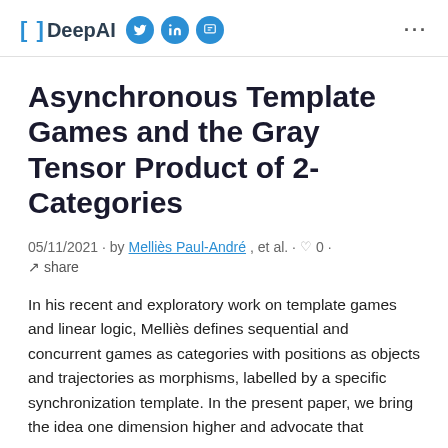[ ] DeepAI
Asynchronous Template Games and the Gray Tensor Product of 2-Categories
05/11/2021 · by Melliès Paul-André, et al. · 0 · share
In his recent and exploratory work on template games and linear logic, Melliès defines sequential and concurrent games as categories with positions as objects and trajectories as morphisms, labelled by a specific synchronization template. In the present paper, we bring the idea one dimension higher and advocate that